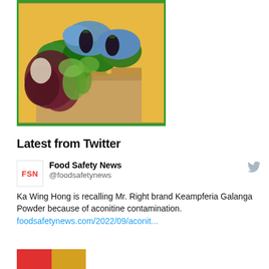[Figure (photo): Person wearing yellow shirt and blue gloves handling vegetables (eggplants, leafy greens, broccoli) being packed into a cardboard box. Green border around the image.]
Latest from Twitter
Food Safety News @fooddsafetynews Ka Wing Hong is recalling Mr. Right brand Keampferia Galanga Powder because of aconitine contamination. foodsafetynews.com/2022/09/aconit...
[Figure (photo): Partial preview image at the bottom, showing red and yellow/golden colored sections, likely a food product.]